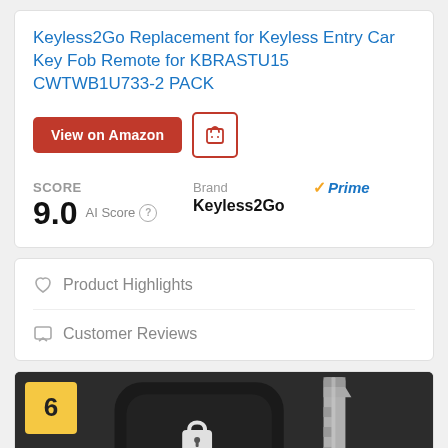Keyless2Go Replacement for Keyless Entry Car Key Fob Remote for KBRASTU15 CWTWB1U733-2 PACK
View on Amazon
SCORE 9.0 AI Score | Brand Keyless2Go | Prime
♡ Product Highlights
☐ Customer Reviews
[Figure (photo): A black car key fob remote next to a metal key blade on a white background, with a number 6 badge in the top left corner]